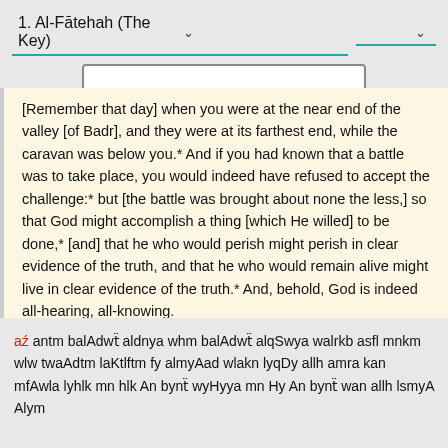1. Al-Fātehah (The Key)
[Remember that day] when you were at the near end of the valley [of Badr], and they were at its farthest end, while the caravan was below you.* And if you had known that a battle was to take place, you would indeed have refused to accept the challenge:* but [the battle was brought about none the less,] so that God might accomplish a thing [which He willed] to be done,* [and] that he who would perish might perish in clear evidence of the truth, and that he who would remain alive might live in clear evidence of the truth.* And, behold, God is indeed all-hearing, all-knowing.
aź antm balAdwẗ aldnya whm balAdwẗ alqSwya walrkb asfl mnkm wlw twaAdtm laKtlftm fy almyAad wlakn lyqDy allh amra kan mfAwla lyhlk mn hlk An bynẗ wyHyya mn Hy An bynẗ wan allh lsmyA Alym